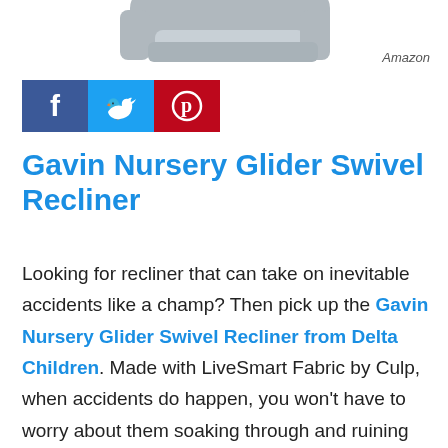[Figure (photo): Partial view of a gray nursery glider swivel recliner chair, cropped at the top of the page]
Amazon
[Figure (infographic): Social media sharing buttons: Facebook (blue), Twitter (light blue), Pinterest (red)]
Gavin Nursery Glider Swivel Recliner
Looking for recliner that can take on inevitable accidents like a champ? Then pick up the Gavin Nursery Glider Swivel Recliner from Delta Children. Made with LiveSmart Fabric by Culp, when accidents do happen, you won't have to worry about them soaking through and ruining your chair — they'll just bead up and sit